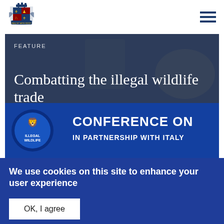[Figure (logo): UK Government coat of arms logo in blue]
[Figure (illustration): Hamburger menu icon (three horizontal lines) in dark navy blue]
[Figure (photo): Feature image showing a person and elephant in background, overlaid with dark blue gradient and text 'FEATURE' and title 'Combatting the illegal wildlife trade']
FEATURE
Combatting the illegal wildlife trade
[Figure (photo): Blue conference banner partially visible reading 'CONFERENCE ON...' and 'IN PARTNERSHIP WITH ITALY']
We use cookies on this site to enhance your user experience
By clicking any link on this page you are giving your consent for us to set cookies. No, give me more info
OK, I agree